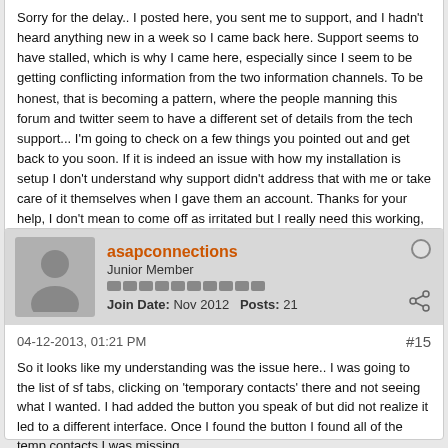Sorry for the delay.. I posted here, you sent me to support, and I hadn't heard anything new in a week so I came back here. Support seems to have stalled, which is why I came here, especially since I seem to be getting conflicting information from the two information channels. To be honest, that is becoming a pattern, where the people manning this forum and twitter seem to have a different set of details from the tech support... I'm going to check on a few things you pointed out and get back to you soon. If it is indeed an issue with how my installation is setup I don't understand why support didn't address that with me or take care of it themselves when I gave them an account. Thanks for your help, I don't mean to come off as irritated but I really need this working, and it seems it was working better before the update.

More soon..
asapconnections
Junior Member
Join Date: Nov 2012   Posts: 21
04-12-2013, 01:21 PM
#15
So it looks like my understanding was the issue here.. I was going to the list of sf tabs, clicking on 'temporary contacts' there and not seeing what I wanted. I had added the button you speak of but did not realize it led to a different interface. Once I found the button I found all of the temp contacts I was missing.